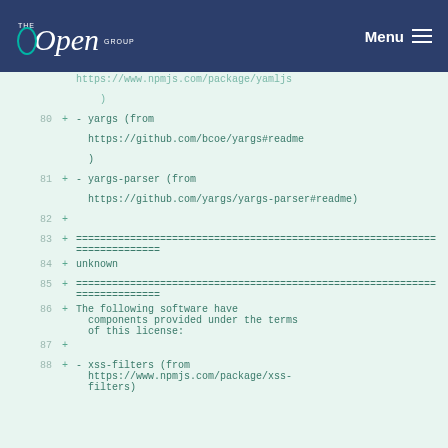The Open Group | Menu
https://www.npmjs.com/package/yamljs
    )
80  + - yargs (from
        https://github.com/bcoe/yargs#readme
        )
81  + - yargs-parser (from
        https://github.com/yargs/yargs-parser#readme)
82  +
83  + =====================================
        =====================================
84  + unknown
85  + =====================================
        =====================================
86  + The following software have
        components provided under the terms
        of this license:
87  +
88  + - xss-filters (from
        https://www.npmjs.com/package/xss-filters)